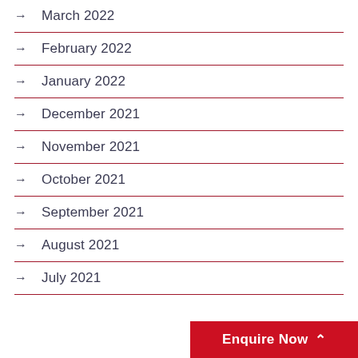March 2022
February 2022
January 2022
December 2021
November 2021
October 2021
September 2021
August 2021
July 2021
Enquire Now